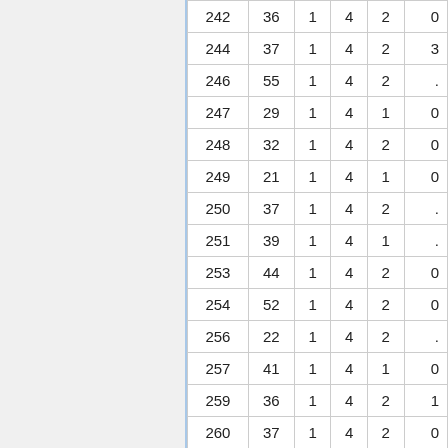| 242 | 36 | 1 | 4 | 2 | 0 |
| 244 | 37 | 1 | 4 | 2 | 3 |
| 246 | 55 | 1 | 4 | 2 | . |
| 247 | 29 | 1 | 4 | 1 | 0 |
| 248 | 32 | 1 | 4 | 2 | 0 |
| 249 | 21 | 1 | 4 | 1 | 0 |
| 250 | 37 | 1 | 4 | 2 | . |
| 251 | 39 | 1 | 4 | 1 | . |
| 253 | 44 | 1 | 4 | 2 | 0 |
| 254 | 52 | 1 | 4 | 2 | 0 |
| 256 | 22 | 1 | 4 | 2 | . |
| 257 | 41 | 1 | 4 | 1 | 0 |
| 259 | 36 | 1 | 4 | 2 | 1 |
| 260 | 37 | 1 | 4 | 2 | 0 |
| 261 | 45 | 1 | 4 | 2 | 0 |
| 264 | 22 | 1 | 4 | 2 | 1 |